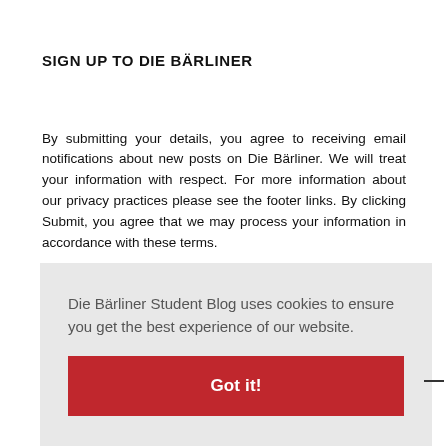SIGN UP TO DIE BÄRLINER
By submitting your details, you agree to receiving email notifications about new posts on Die Bärliner. We will treat your information with respect. For more information about our privacy practices please see the footer links. By clicking Submit, you agree that we may process your information in accordance with these terms.
Die Bärliner Student Blog uses cookies to ensure you get the best experience of our website.
Got it!